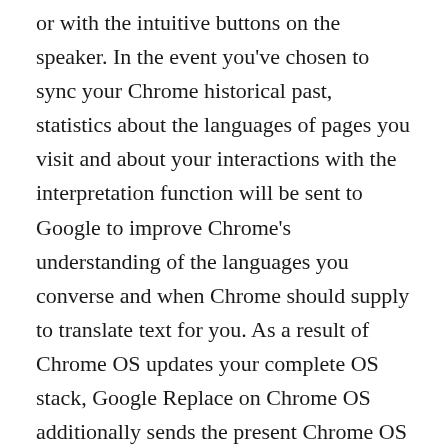or with the intuitive buttons on the speaker. In the event you've chosen to sync your Chrome historical past, statistics about the languages of pages you visit and about your interactions with the interpretation function will be sent to Google to improve Chrome's understanding of the languages you converse and when Chrome should supply to translate text for you. As a result of Chrome OS updates your complete OS stack, Google Replace on Chrome OS additionally sends the present Chrome OS version and hardware model information to Google with the intention to ensure that the right software program updates and hardware manufacturer customizations such as apps, wallpaper, and help articles are